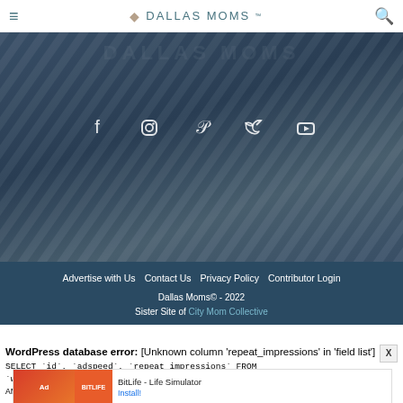DALLAS MOMS
[Figure (screenshot): Dallas Moms website hero section with dark blue/teal background, social media icons (Facebook, Instagram, Pinterest, Twitter, YouTube) in a row]
Advertise with Us | Contact Us | Privacy Policy | Contributor Login
Dallas Moms© - 2022
Sister Site of City Mom Collective
WordPress database error: [Unknown column 'repeat_impressions' in 'field list']
SELECT `id`, `adspeed`, `repeat_impressions` FROM `wp_7d25f7hfnt_adrotate_groups` WHERE `name` != '' AND `modus` = 1 ORDER BY `id` ASC;
[Figure (screenshot): BitLife - Life Simulator advertisement banner at bottom of page]